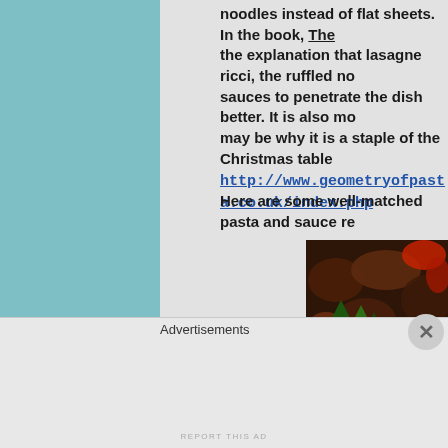noodles instead of flat sheets. In the book, The explanation that lasagne ricci, the ruffled noodle, allows sauces to penetrate the dish better. It is also more festive, which may be why it is a staple of the Christmas table http://www.geometryofpasta.co.uk/index.php
Here are some well-matched pasta and sauce re
[Figure (photo): Close-up photo of pasta dish with dark meat sauce, fresh basil leaves, and tomato chunks served on a plate]
Advertisements